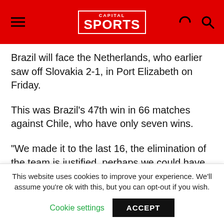Capital Sports
Brazil will face the Netherlands, who earlier saw off Slovakia 2-1, in Port Elizabeth on Friday.
This was Brazil's 47th win in 66 matches against Chile, who have only seven wins.
"We made it to the last 16, the elimination of the team is justified, perhaps we could have lost by less, but the superiority of Brazil was too much for us," said Chile coach Marcelo Bielsa.
"We were unable to slow them down. As to my continuity in the job as coach, this is not the right time to talk about
This website uses cookies to improve your experience. We'll assume you're ok with this, but you can opt-out if you wish.
Cookie settings   ACCEPT